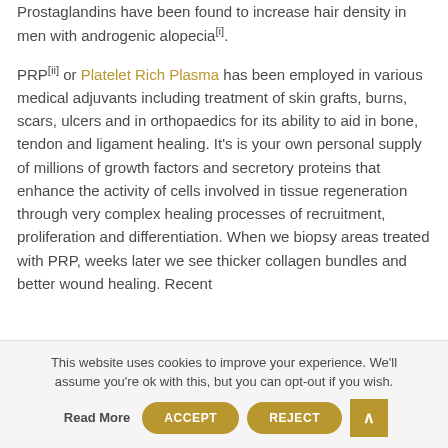Prostaglandins have been found to increase hair density in men with androgenic alopecia[i].
PRP[ii] or Platelet Rich Plasma has been employed in various medical adjuvants including treatment of skin grafts, burns, scars, ulcers and in orthopaedics for its ability to aid in bone, tendon and ligament healing. It's is your own personal supply of millions of growth factors and secretory proteins that enhance the activity of cells involved in tissue regeneration through very complex healing processes of recruitment, proliferation and differentiation. When we biopsy areas treated with PRP, weeks later we see thicker collagen bundles and better wound healing. Recent
This website uses cookies to improve your experience. We'll assume you're ok with this, but you can opt-out if you wish.